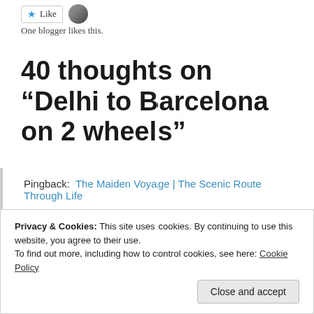[Figure (other): Like button with star icon and user avatar]
One blogger likes this.
40 thoughts on “Delhi to Barcelona on 2 wheels”
Pingback:  The Maiden Voyage | The Scenic Route Through Life
Privacy & Cookies: This site uses cookies. By continuing to use this website, you agree to their use.
To find out more, including how to control cookies, see here: Cookie Policy
Close and accept